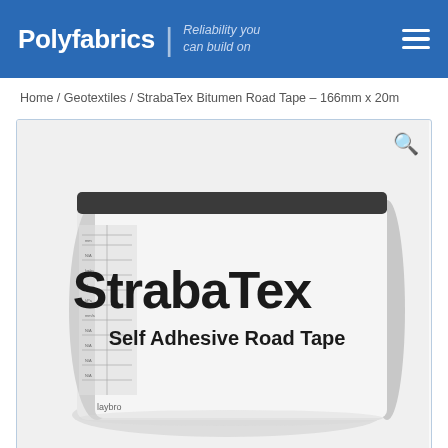Polyfabrics | Reliability you can build on
Home / Geotextiles / StrabaTex Bitumen Road Tape – 166mm x 20m
[Figure (photo): A roll of StrabaTex Self Adhesive Road Tape wrapped in white packaging with the product name and description printed in large bold black text. The roll has black bitumen visible at the top edge. A magnifying glass/search icon appears in the top right corner of the image frame.]